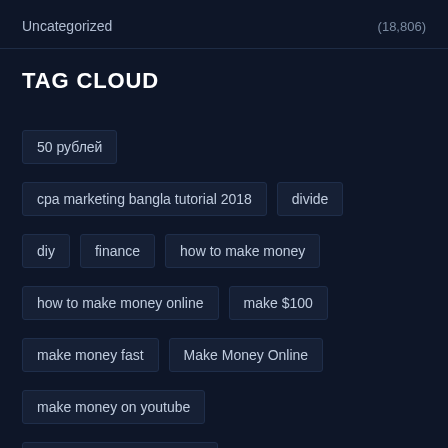Uncategorized (18,806)
TAG CLOUD
50 рублей
cpa marketing bangla tutorial 2018
divide
diy
finance
how to make money
how to make money online
make $100
make money fast
Make Money Online
make money on youtube
make money with blogging